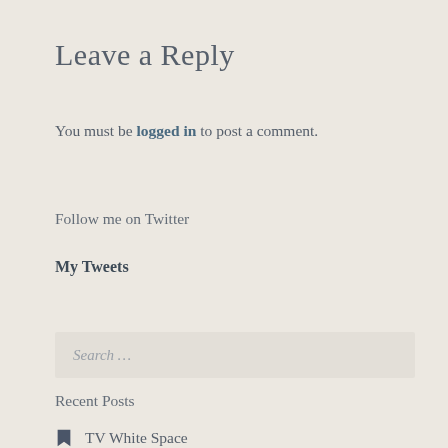Leave a Reply
You must be logged in to post a comment.
Follow me on Twitter
My Tweets
Search …
Recent Posts
TV White Space
A ...